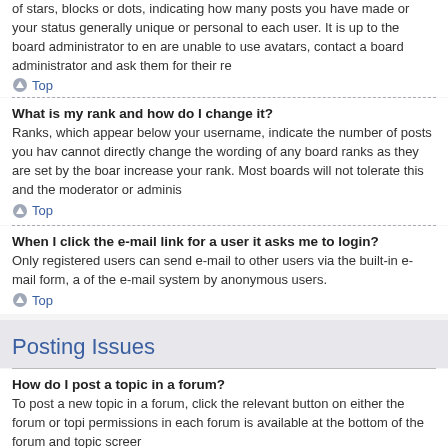of stars, blocks or dots, indicating how many posts you have made or your status generally unique or personal to each user. It is up to the board administrator to en are unable to use avatars, contact a board administrator and ask them for their re
Top
What is my rank and how do I change it?
Ranks, which appear below your username, indicate the number of posts you hav cannot directly change the wording of any board ranks as they are set by the boar increase your rank. Most boards will not tolerate this and the moderator or adminis
Top
When I click the e-mail link for a user it asks me to login?
Only registered users can send e-mail to other users via the built-in e-mail form, a of the e-mail system by anonymous users.
Top
Posting Issues
How do I post a topic in a forum?
To post a new topic in a forum, click the relevant button on either the forum or topi permissions in each forum is available at the bottom of the forum and topic screer
Top
How do I edit or delete a post?
Unless you are a board administrator or moderator, you can only edit or delete yo